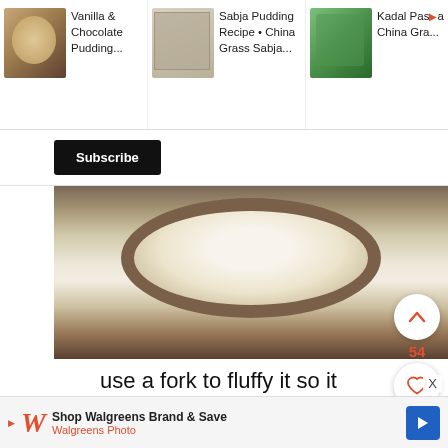[Figure (screenshot): Related recipe thumbnails row: Vanilla & Chocolate Pudding, Sabja Pudding Recipe China Grass Sabja, Kadal Paasi Kadal China Grass]
Vanilla & Chocolate Pudding...
Sabja Pudding Recipe • China Grass Sabja...
Kadal Paasi Kadal China Gra...
Subscribe
[Figure (photo): Top-down view of a round bowl or container with white fluffy/granular substance, on a wooden surface]
use a fork to fluffy it so it resembles crumbled jelly
[Figure (photo): Orange/red food item in a bowl, partial view]
Shop Walgreens Brand & Save
Walgreens Photo